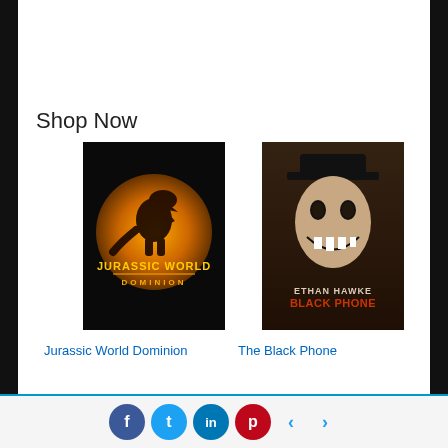Shop Now
[Figure (photo): Jurassic World Dominion movie poster — black background with glowing orange circular logo featuring a T-Rex silhouette and the text 'Jurassic World Dominion']
[Figure (photo): The Black Phone movie poster — dark thriller image of a menacing figure wearing a hat and mask, with text 'Ethan Hawke Black Phone']
Jurassic World Dominion
The Black Phone
★★★★☆ (10070)
★★★★½ (4871)
[Figure (photo): Partial thumbnail of a movie featuring Gerard Butler, text 'Last']
[Figure (photo): Partial thumbnail of a movie with text 'EVERY' on dark background]
f  t  in  p  ‹  ›